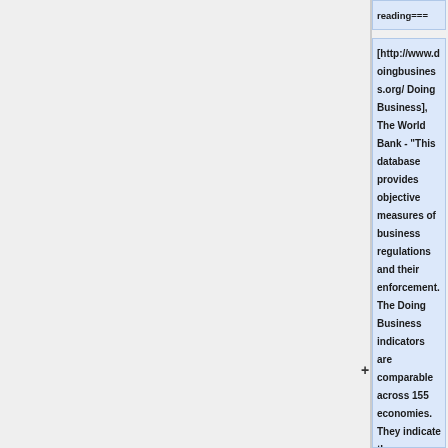reading===
[http://www.doingbusiness.org/ Doing Business], The World Bank - "This database provides objective measures of business regulations and their enforcement. The Doing Business indicators are comparable across 155 economies. They indicate the regulatory costs of